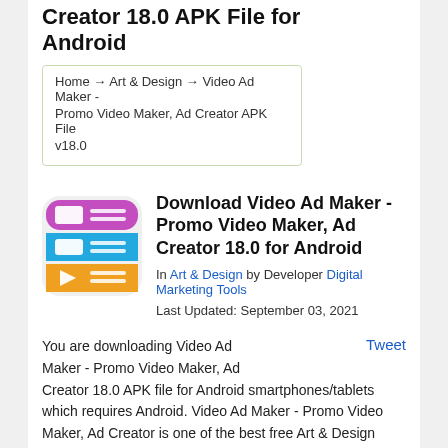Creator 18.0 APK File for Android
Home → Art & Design → Video Ad Maker - Promo Video Maker, Ad Creator APK File v18.0
Download Video Ad Maker - Promo Video Maker, Ad Creator 18.0 for Android
In Art & Design by Developer Digital Marketing Tools
Last Updated: September 03, 2021
[Figure (logo): Video Ad Maker app icon with purple, blue, and orange sections with white UI elements]
You are downloading Video Ad Maker - Promo Video Maker, Ad Creator 18.0 APK file for Android smartphones/tablets which requires Android. Video Ad Maker - Promo Video Maker, Ad Creator is one of the best free Art & Design
Tweet